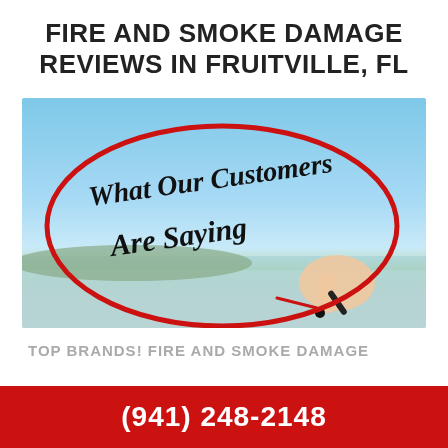FIRE AND SMOKE DAMAGE REVIEWS IN FRUITVILLE, FL
[Figure (photo): Photo of a hand writing 'What Our Customers Are Saying' in cursive on a glass surface, with a red oval drawn around the text. Background shows a blurred blue sky and water scene.]
TOP BRANDS! FIRE AND SMOKE DAMAGE
(941) 248-2148